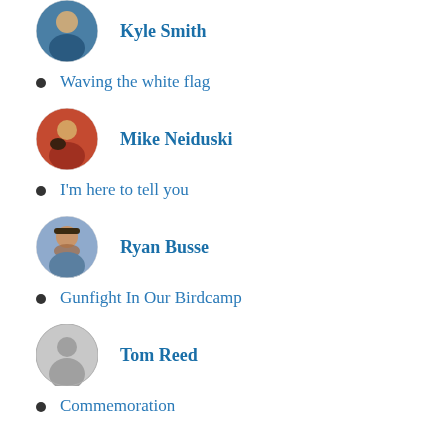[Figure (photo): Circular profile photo of Kyle Smith]
Kyle Smith
Waving the white flag
[Figure (photo): Circular profile photo of Mike Neiduski holding a dog]
Mike Neiduski
I'm here to tell you
[Figure (photo): Circular profile photo of Ryan Busse with beard and cap]
Ryan Busse
Gunfight In Our Birdcamp
[Figure (illustration): Default circular avatar placeholder icon for Tom Reed]
Tom Reed
Commemoration